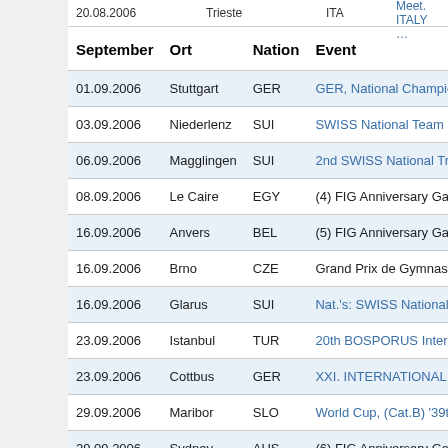| September | Ort | Nation | Event |
| --- | --- | --- | --- |
| 20.08.2006 | Trieste | ITA | Friendly Meet. ITALY … |
| 01.09.2006 | Stuttgart | GER | GER, National Championshi… |
| 03.09.2006 | Niederlenz | SUI | SWISS National Team Cham… |
| 06.09.2006 | Magglingen | SUI | 2nd SWISS National Trials (… |
| 08.09.2006 | Le Caire | EGY | (4) FIG Anniversary Gala |
| 16.09.2006 | Anvers | BEL | (5) FIG Anniversary Gala |
| 16.09.2006 | Brno | CZE | Grand Prix de Gymnastique |
| 16.09.2006 | Glarus | SUI | Nat.'s: SWISS National Cha… |
| 23.09.2006 | Istanbul | TUR | 20th BOSPORUS Internatio… |
| 23.09.2006 | Cottbus | GER | XXI. INTERNATIONAL GWG… |
| 29.09.2006 | Maribor | SLO | World Cup, (Cat.B) '39th 'Sa… |
| 29.09.2006 | Sydney | AUS | (6) FIG Anniversary Gala |
| 29.09.2006 | Sandnes | NOR | Northern European Gymnas… |